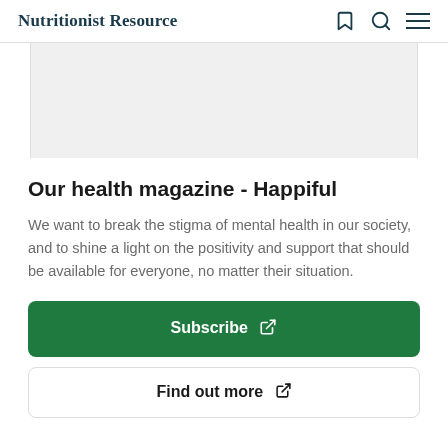Nutritionist Resource
[Figure (other): Gray placeholder image area]
Our health magazine - Happiful
We want to break the stigma of mental health in our society, and to shine a light on the positivity and support that should be available for everyone, no matter their situation.
Subscribe
Find out more